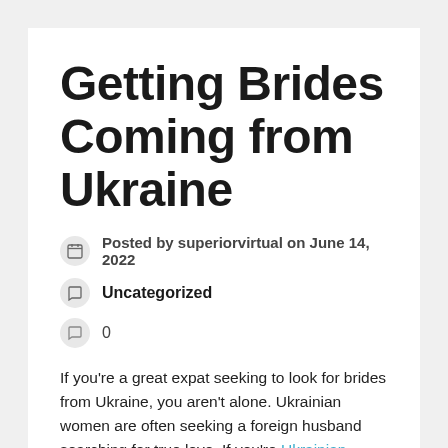Getting Brides Coming from Ukraine
Posted by superiorvirtual on June 14, 2022
Uncategorized
0
If you're a great expat seeking to look for brides from Ukraine, you aren't alone. Ukrainian women are often seeking a foreign husband searching for true love. If you're Ukrainian brides to're considering